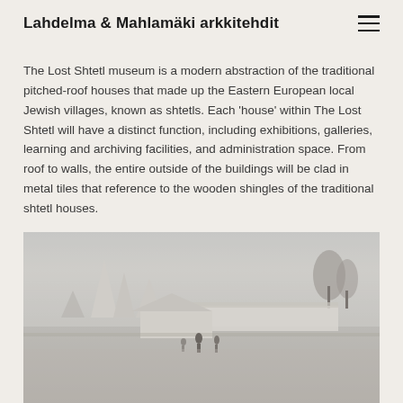Lahdelma & Mahlamäki arkkitehdit
The Lost Shtetl museum is a modern abstraction of the traditional pitched-roof houses that made up the Eastern European local Jewish villages, known as shtetls. Each 'house' within The Lost Shtetl will have a distinct function, including exhibitions, galleries, learning and archiving facilities, and administration space. From roof to walls, the entire outside of the buildings will be clad in metal tiles that reference to the wooden shingles of the traditional shtetl houses.
[Figure (photo): Architectural rendering of The Lost Shtetl museum showing multiple pitched-roof building forms in white/grey tones set in a field landscape with bare trees in the background and figures in the foreground, foggy/overcast atmosphere]